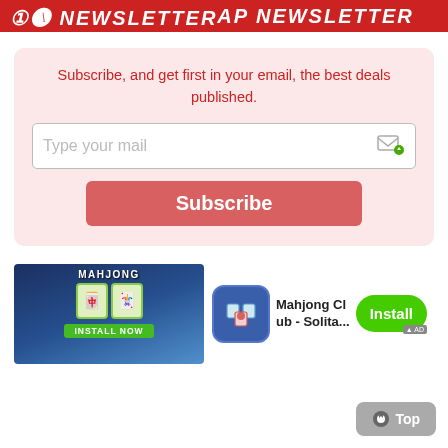AP NEWSLETTER
Subscribe, and get first in your email, the best deals published.
[Figure (screenshot): Email input field with placeholder text 'Type your mail' and a small email/arrow icon on the right]
[Figure (screenshot): Red Subscribe button]
[Figure (screenshot): Mahjong Club advertisement banner with game screenshot, app icon, app name 'Mahjong Club - Solita...' and green Install button]
[Figure (screenshot): Gray 'Top' button with circle icon in bottom right corner]